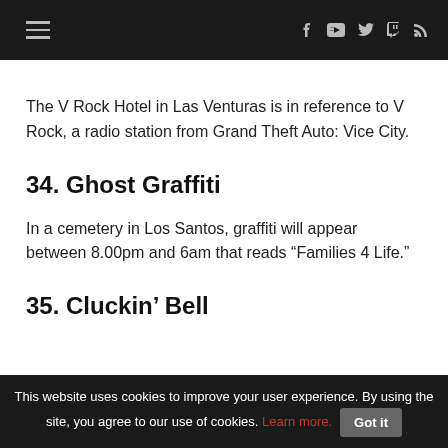Navigation bar with menu and social icons
The V Rock Hotel in Las Venturas is in reference to V Rock, a radio station from Grand Theft Auto: Vice City.
34. Ghost Graffiti
In a cemetery in Los Santos, graffiti will appear between 8.00pm and 6am that reads “Families 4 Life.”
35. Cluckin’ Bell
This website uses cookies to improve your user experience. By using the site, you agree to our use of cookies. Learn more. Got it